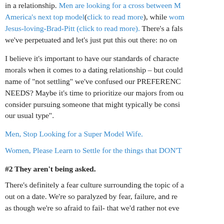in a relationship. Men are looking for a cross between M... America's next top model(click to read more), while wom... Jesus-loving-Brad-Pitt (click to read more). There's a fals... we've perpetuated and let's just put this out there: no on...
I believe it's important to have our standards of characte... morals when it comes to a dating relationship – but could... name of "not settling" we've confused our PREFERENC... NEEDS? Maybe it's time to prioritize our majors from ou... consider pursuing someone that might typically be consi... our usual type".
Men, Stop Looking for a Super Model Wife.
Women, Please Learn to Settle for the things that DON'T
#2 They aren't being asked.
There's definitely a fear culture surrounding the topic of a... out on a date. We're so paralyzed by fear, failure, and re... as though we're so afraid to fail- that we'd rather not eve...